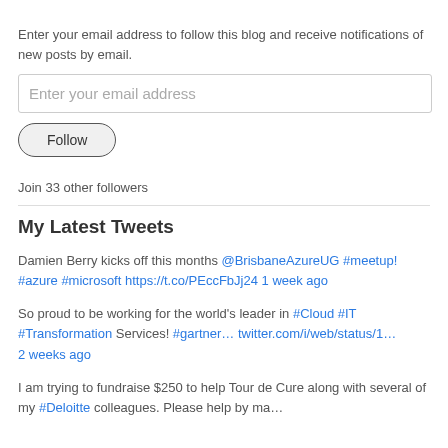Enter your email address to follow this blog and receive notifications of new posts by email.
Enter your email address
Follow
Join 33 other followers
My Latest Tweets
Damien Berry kicks off this months @BrisbaneAzureUG #meetup! #azure #microsoft https://t.co/PEccFbJj24 1 week ago
So proud to be working for the world's leader in #Cloud #IT #Transformation Services! #gartner… twitter.com/i/web/status/1… 2 weeks ago
I am trying to fundraise $250 to help Tour de Cure along with several of my #Deloitte colleagues. Please help by ma…